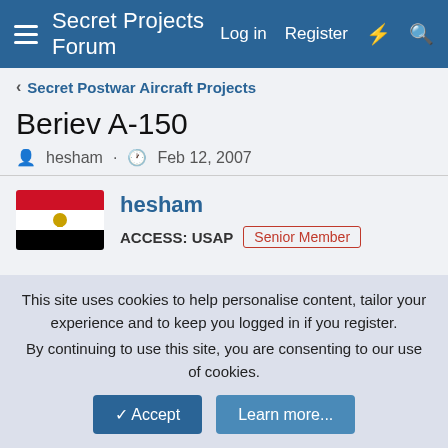Secret Projects Forum   Log in   Register
Secret Postwar Aircraft Projects
Beriev A-150
hesham · Feb 12, 2007
hesham
ACCESS: USAP   Senior Member
Feb 12, 2007   #1
Hi,

Beriev A-150;
Attachments
This site uses cookies to help personalise content, tailor your experience and to keep you logged in if you register.
By continuing to use this site, you are consenting to our use of cookies.